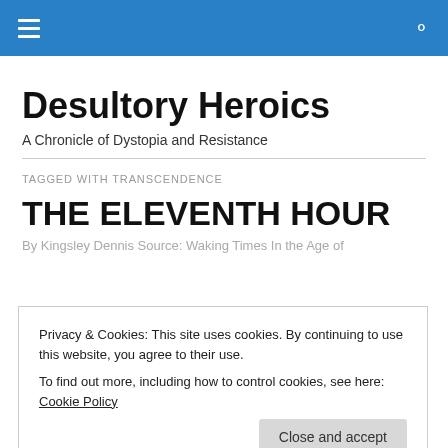Desultory Heroics — navigation bar
Desultory Heroics
A Chronicle of Dystopia and Resistance
TAGGED WITH TRANSCENDENCE
THE ELEVENTH HOUR
By Kingsley Dennis Source: Waking Times In the Age of
Privacy & Cookies: This site uses cookies. By continuing to use this website, you agree to their use.
To find out more, including how to control cookies, see here: Cookie Policy
… Continue reading →